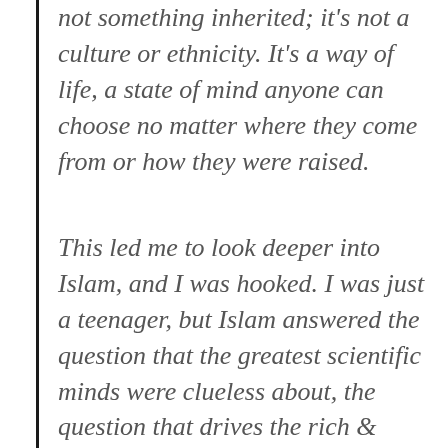not something inherited; it's not a culture or ethnicity. It's a way of life, a state of mind anyone can choose no matter where they come from or how they were raised.
This led me to look deeper into Islam, and I was hooked. I was just a teenager, but Islam answered the question that the greatest scientific minds were clueless about, the question that drives the rich & famous to depression and suicide from being unable to answer: what is the purpose of life? Why do we exist in this Universe? But it also answered the question of how we should...